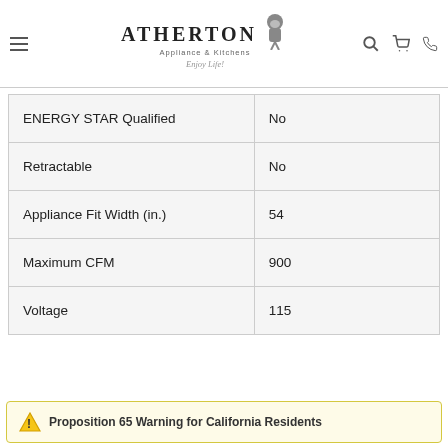Atherton Appliance & Kitchens — Enjoy Life!
| Specification | Value |
| --- | --- |
| ENERGY STAR Qualified | No |
| Retractable | No |
| Appliance Fit Width (in.) | 54 |
| Maximum CFM | 900 |
| Voltage | 115 |
⚠ Proposition 65 Warning for California Residents